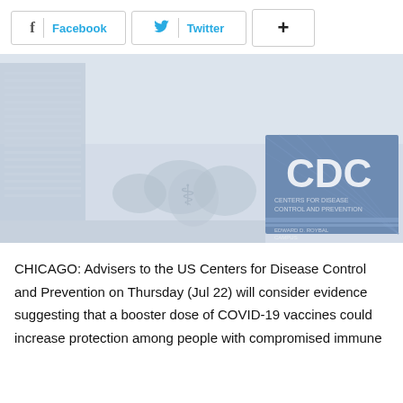[Figure (other): Social sharing buttons: Facebook, Twitter, and a plus/more button]
[Figure (photo): CDC (Centers for Disease Control and Prevention) headquarters building exterior with large CDC sign and HHS eagle logo, muted blue-grey tones]
CHICAGO: Advisers to the US Centers for Disease Control and Prevention on Thursday (Jul 22) will consider evidence suggesting that a booster dose of COVID-19 vaccines could increase protection among people with compromised immune